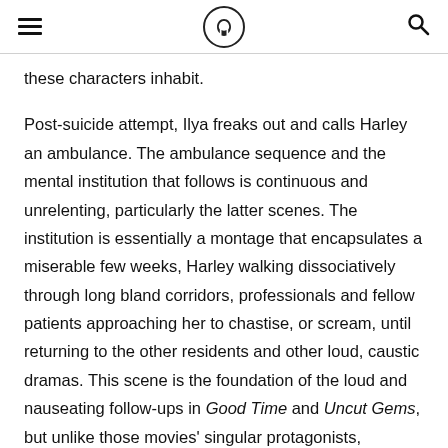[hamburger menu] [logo] [search]
these characters inhabit.
Post-suicide attempt, Ilya freaks out and calls Harley an ambulance. The ambulance sequence and the mental institution that follows is continuous and unrelenting, particularly the latter scenes. The institution is essentially a montage that encapsulates a miserable few weeks, Harley walking dissociatively through long bland corridors, professionals and fellow patients approaching her to chastise, or scream, until returning to the other residents and other loud, caustic dramas. This scene is the foundation of the loud and nauseating follow-ups in Good Time and Uncut Gems, but unlike those movies' singular protagonists, vehicles for endless noisy confrontations, you probably already feel a nurturing and deeply